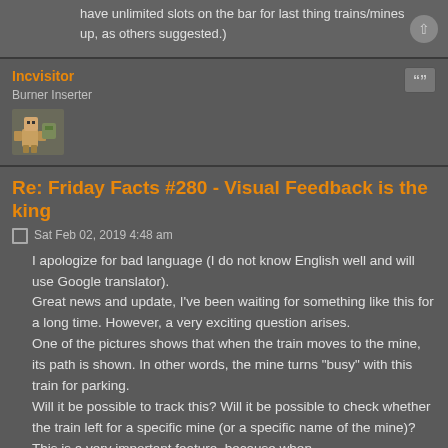have unlimited slots on the bar for last thing trains/mines up, as others suggested.)
Incvisitor
Burner Inserter
Re: Friday Facts #280 - Visual Feedback is the king
Sat Feb 02, 2019 4:48 am
I apologize for bad language (I do not know English well and will use Google translator).
Great news and update, I've been waiting for something like this for a long time. However, a very exciting question arises.
One of the pictures shows that when the train moves to the mine, its path is shown. In other words, the mine turns "busy" with this train for parking.
Will it be possible to track this? Will it be possible to check whether the train left for a specific mine (or a specific name of the mine)? This is a very important feature, because when